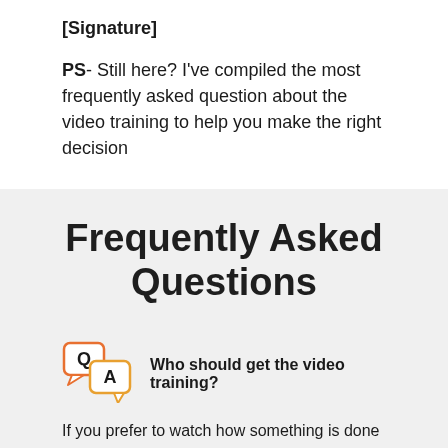[Signature]
PS- Still here? I've compiled the most frequently asked question about the video training to help you make the right decision
Frequently Asked Questions
Who should get the video training?
If you prefer to watch how something is done rather than read about how something is done, this training is for you.